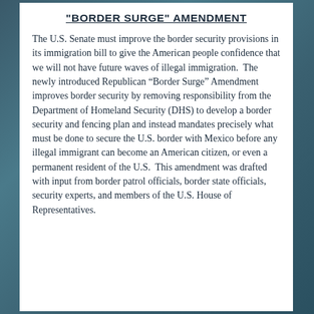"BORDER SURGE" AMENDMENT
The U.S. Senate must improve the border security provisions in its immigration bill to give the American people confidence that we will not have future waves of illegal immigration.  The newly introduced Republican “Border Surge” Amendment improves border security by removing responsibility from the Department of Homeland Security (DHS) to develop a border security and fencing plan and instead mandates precisely what must be done to secure the U.S. border with Mexico before any illegal immigrant can become an American citizen, or even a permanent resident of the U.S.  This amendment was drafted with input from border patrol officials, border state officials, security experts, and members of the U.S. House of Representatives.